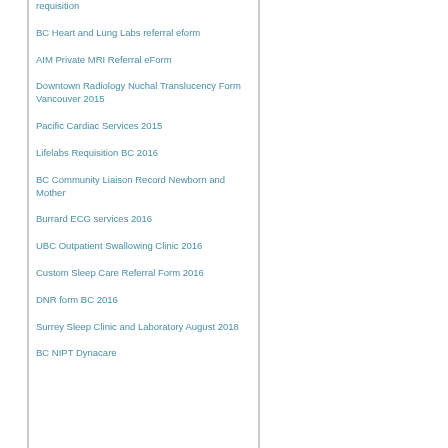requisition
BC Heart and Lung Labs referral eform
AIM Private MRI Referral eForm
Downtown Radiology Nuchal Translucency Form Vancouver 2015
Pacific Cardiac Services 2015
Lifelabs Requisition BC 2016
BC Community Liaison Record Newborn and Mother
Burrard ECG services 2016
UBC Outpatient Swallowing Clinic 2016
Custom Sleep Care Referral Form 2016
DNR form BC 2016
Surrey Sleep Clinic and Laboratory August 2018
BC NIPT Dynacare